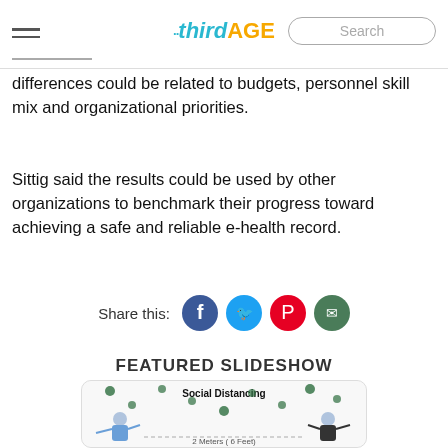thirdAGE — Search
differences could be related to budgets, personnel skill mix and organizational priorities.
Sittig said the results could be used by other organizations to benchmark their progress toward achieving a safe and reliable e-health record.
Share this:
FEATURED SLIDESHOW
[Figure (illustration): Social Distancing infographic showing two people 2 Meters (6 Feet) apart with virus particles floating around them]